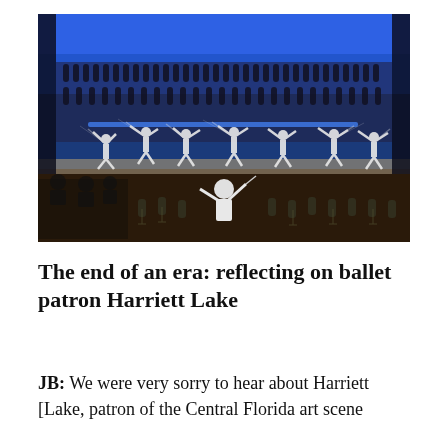[Figure (photo): A performance photograph showing ballet dancers in white costumes on a lit stage with blue lighting, with a choir in dark clothing behind them on risers, and a conductor in white seen from behind in the foreground orchestra pit area with musicians.]
The end of an era: reflecting on ballet patron Harriett Lake
JB: We were very sorry to hear about Harriett [Lake, patron of the Central Florida art scene